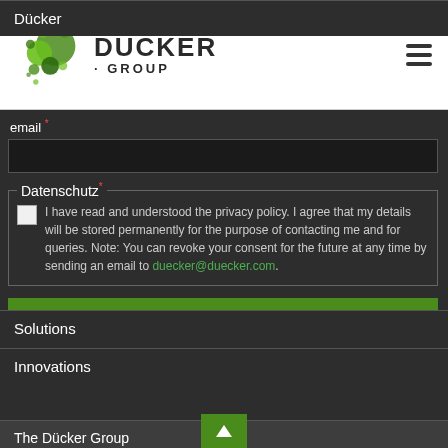[Figure (logo): Dücker Group logo with green circular design and company name]
email *
Datenschutz* - I have read and understood the privacy policy. I agree that my details will be stored permanently for the purpose of contacting me and for queries. Note: You can revoke your consent for the future at any time by sending an email to duecker@duecker.com.
SEND
Solutions
Innovations
Dücker
The Dücker Group